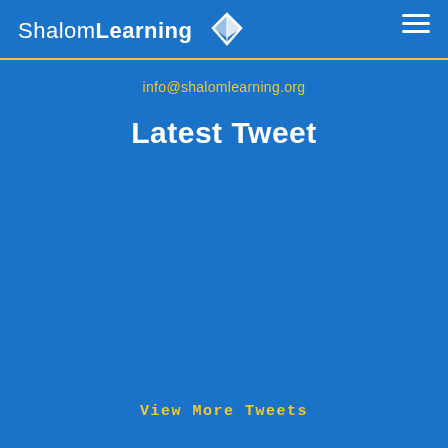ShalomLearning
info@shalomlearning.org
Latest Tweet
View More Tweets